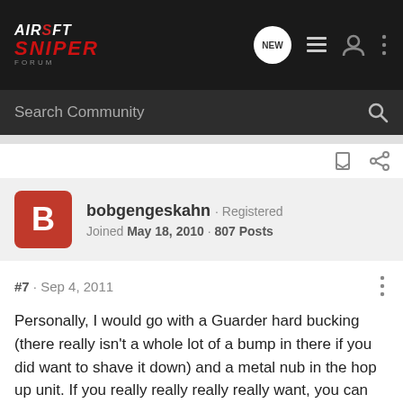Airsoft Sniper Forum - navigation bar with logo, NEW, list, user, and menu icons
Search Community
bobgengeskahn · Registered
Joined May 18, 2010 · 807 Posts
#7 · Sep 4, 2011
Personally, I would go with a Guarder hard bucking (there really isn't a whole lot of a bump in there if you did want to shave it down) and a metal nub in the hop up unit. If you really really really really want, you can try to go with a G or R hop, but thatll take some time and work.